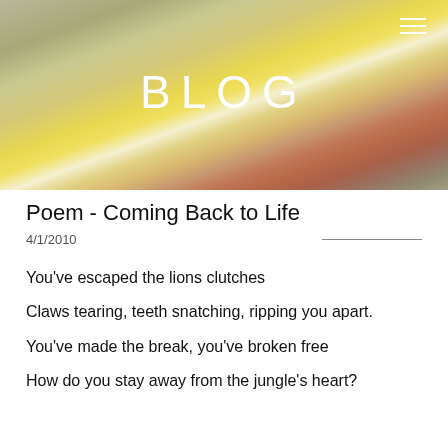[Figure (illustration): Watercolor-style header banner with muted olive green, yellow, orange, and rust tones blending together, serving as background for the blog header]
BLOG
Poem - Coming Back to Life
4/1/2010
You’ve escaped the lions clutches
Claws tearing, teeth snatching, ripping you apart.
You’ve made the break, you’ve broken free
How do you stay away from the jungle’s heart?